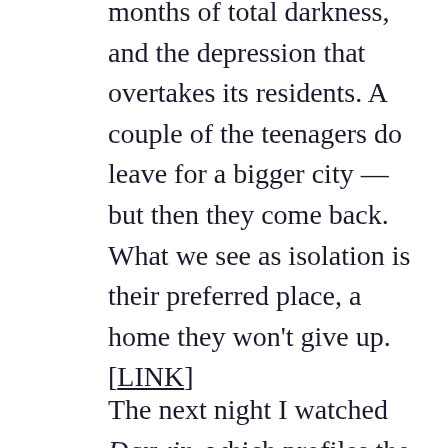months of total darkness, and the depression that overtakes its residents. A couple of the teenagers do leave for a bigger city — but then they come back. What we see as isolation is their preferred place, a home they won't give up. [LINK]
The next night I watched Darwin, which profiles the 35-strong population of the dying town in Death Valley, California, that gives the film its title. It's a place where people go to hide, though not necessarily from the law. The mines are